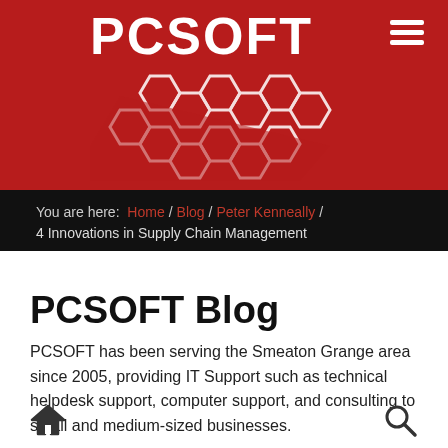[Figure (logo): PCSOFT logo on red background with hexagonal pattern and hamburger menu icon]
You are here: Home / Blog / Peter Kenneally / 4 Innovations in Supply Chain Management
PCSOFT Blog
PCSOFT has been serving the Smeaton Grange area since 2005, providing IT Support such as technical helpdesk support, computer support, and consulting to small and medium-sized businesses.
Home icon | Search icon